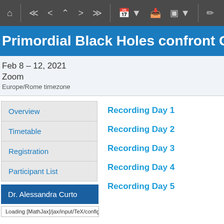Toolbar with navigation and calendar icons
Primordial Black Holes confront GW
Feb 8 – 12, 2021
Zoom
Europe/Rome timezone
Overview
Timetable
Registration
Participant List
Dr. Alessandra Curto
Loading [MathJax]/jax/input/TeX/config.js
Recording Day 1
Recording Day 2
Recording Day 3
Recording Day 4
Recording Day 5